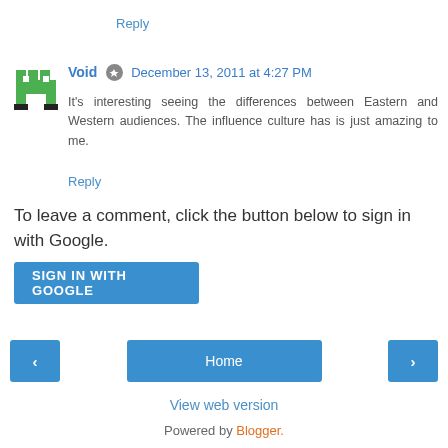Reply
Void  December 13, 2011 at 4:27 PM
It's interesting seeing the differences between Eastern and Western audiences. The influence culture has is just amazing to me.
Reply
To leave a comment, click the button below to sign in with Google.
SIGN IN WITH GOOGLE
Home
View web version
Powered by Blogger.